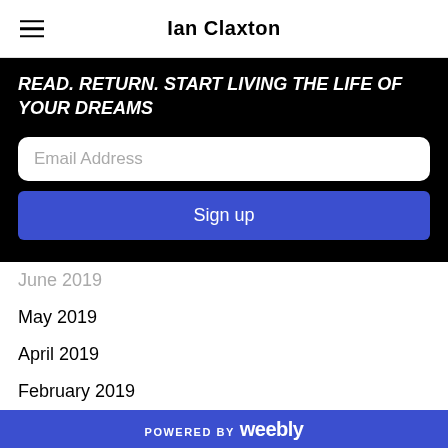Ian Claxton
READ. RETURN. START LIVING THE LIFE OF YOUR DREAMS
Email Address
Sign up
June 2019
May 2019
April 2019
February 2019
January 2019
December 2018
November 2018
October 2018
September 2018
POWERED BY weebly